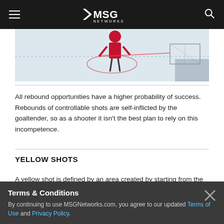MSG Networks
[Figure (photo): Hockey player on ice rink near goal, action shot]
All rebound opportunities have a higher probability of success. Rebounds of controllable shots are self-inflicted by the goaltender, so as a shooter it isn't the best plan to rely on this incompetence.
YELLOW SHOTS
A yellow shot is defined by an area created by starting from the center of the net and creating a line towards where the boards and center line connect. At the intersection of where this and the vertical Royal Road intersect, we connect them to form a triangle.
Terms & Conditions
By continuing to use MSGNetworks.com, you agree to our updated Terms of Use and Privacy Policy.